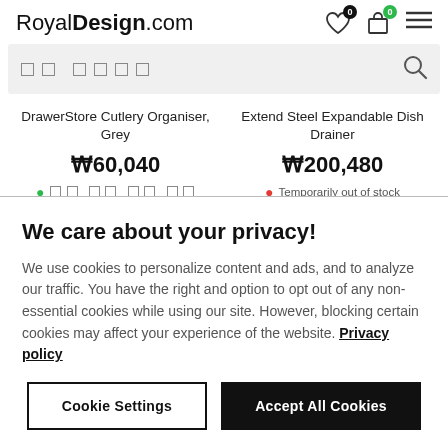RoyalDesign.com
[Figure (screenshot): Search bar with placeholder boxes and search icon]
DrawerStore Cutlery Organiser, Grey
₩60,040
● [in stock]
Extend Steel Expandable Dish Drainer
₩200,480
● Temporarily out of stock
We care about your privacy!
We use cookies to personalize content and ads, and to analyze our traffic. You have the right and option to opt out of any non-essential cookies while using our site. However, blocking certain cookies may affect your experience of the website. Privacy policy